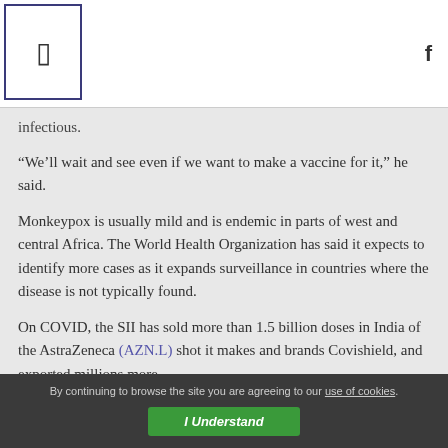infectious.
“We’ll wait and see even if we want to make a vaccine for it,” he said.
Monkeypox is usually mild and is endemic in parts of west and central Africa. The World Health Organization has said it expects to identify more cases as it expands surveillance in countries where the disease is not typically found.
On COVID, the SII has sold more than 1.5 billion doses in India of the AstraZeneca (AZN.L) shot it makes and brands Covishield, and exported millions more.
But as demand has now waned, the company is putting its Indian Covishield facilities on standby and will “not produce
By continuing to browse the site you are agreeing to our use of cookies.
I Understand